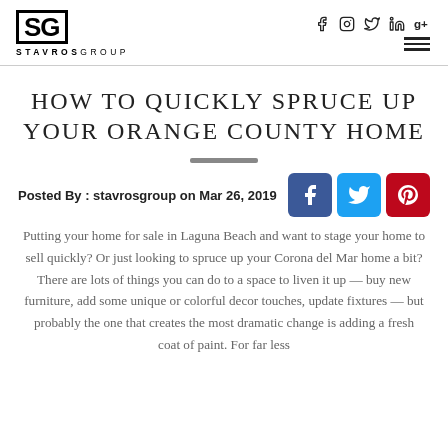STAVROSGROUP — logo and social/nav icons
HOW TO QUICKLY SPRUCE UP YOUR ORANGE COUNTY HOME
Posted By : stavrosgroup on Mar 26, 2019
Putting your home for sale in Laguna Beach and want to stage your home to sell quickly? Or just looking to spruce up your Corona del Mar home a bit? There are lots of things you can do to a space to liven it up — buy new furniture, add some unique or colorful decor touches, update fixtures — but probably the one that creates the most dramatic change is adding a fresh coat of paint. For far less